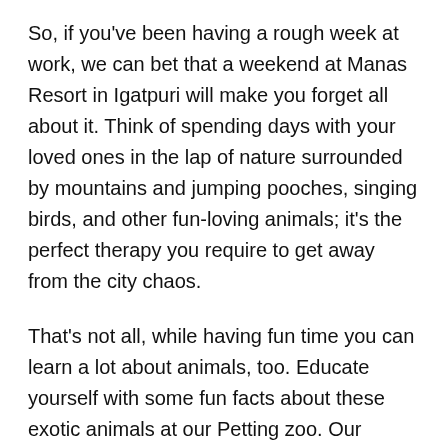So, if you've been having a rough week at work, we can bet that a weekend at Manas Resort in Igatpuri will make you forget all about it. Think of spending days with your loved ones in the lap of nature surrounded by mountains and jumping pooches, singing birds, and other fun-loving animals; it's the perfect therapy you require to get away from the city chaos.
That's not all, while having fun time you can learn a lot about animals, too. Educate yourself with some fun facts about these exotic animals at our Petting zoo. Our trainers and caretakers are a treasure trove of information, and can offer you insight on breeds, animal diets, temperaments and more.